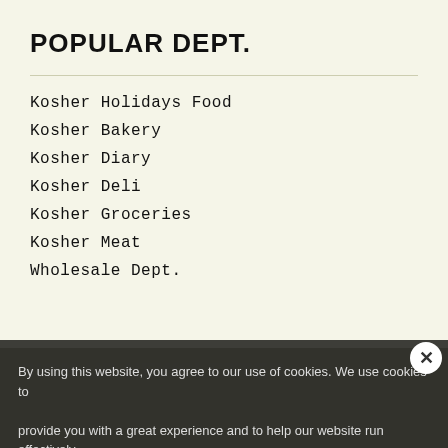POPULAR DEPT.
Kosher Holidays Food
Kosher Bakery
Kosher Diary
Kosher Deli
Kosher Groceries
Kosher Meat
Wholesale Dept.
SIGN UP NEWSLETTER
By using this website, you agree to our use of cookies. We use cookies to provide you with a great experience and to help our website run effectively.
More info.
Accept Cookie